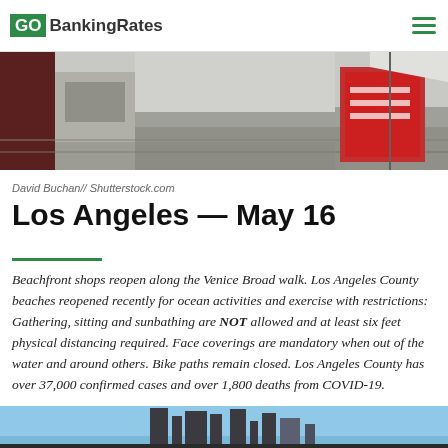GOBankingRates
[Figure (photo): Street-level photo of beachfront shops/boardwalk area, showing a sidewalk, storefronts, and a red sign in the right foreground.]
David Buchan// Shutterstock.com
Los Angeles — May 16
Beachfront shops reopen along the Venice Broad walk. Los Angeles County beaches reopened recently for ocean activities and exercise with restrictions: Gathering, sitting and sunbathing are NOT allowed and at least six feet physical distancing required. Face coverings are mandatory when out of the water and around others. Bike paths remain closed. Los Angeles County has over 37,000 confirmed cases and over 1,800 deaths from COVID-19.
[Figure (photo): Partial view of a city skyline against a blue sky, photo cropped at bottom of page.]